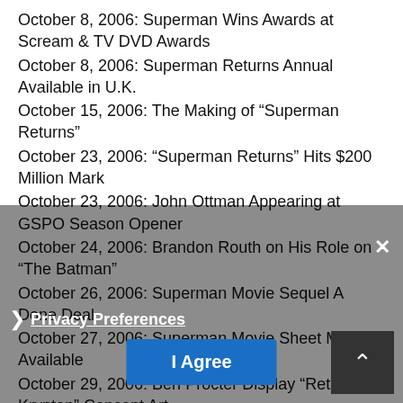October 8, 2006: Superman Wins Awards at Scream & TV DVD Awards
October 8, 2006: Superman Returns Annual Available in U.K.
October 15, 2006: The Making of “Superman Returns”
October 23, 2006: “Superman Returns” Hits $200 Million Mark
October 23, 2006: John Ottman Appearing at GSPO Season Opener
October 24, 2006: Brandon Routh on His Role on “The Batman”
October 26, 2006: Superman Movie Sequel A Done Deal
October 27, 2006: Superman Movie Sheet Music Available
October 29, 2006: Ben Procter Display “Return to Krypton” Concept Art
October 30, 2006: Variety Confirms Superman Sequel Deal
October 30, 2006: “Superman Returns” VCD Available in Thailand
October 31, 2006: Superman Returns Movie Still Possible
November 3, 2006: “Superman Returns” DVD Trailer & Websites
November 3, 2006: Brandon Routh Talks Sequel Movie